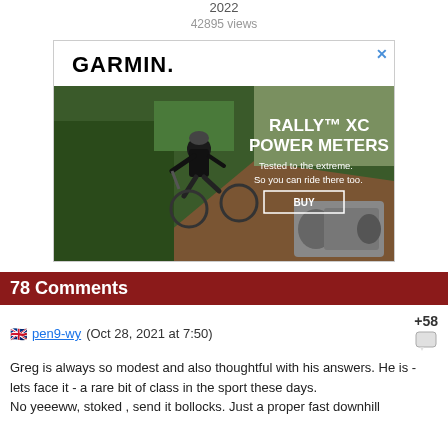2022
42895 views
[Figure (advertisement): Garmin Rally XC Power Meters advertisement. Shows a mountain biker riding on a trail with text: RALLY XC POWER METERS, Tested to the extreme. So you can ride there too. BUY button. Garmin logo top left. Product image of power meter pedals bottom right. Close X button top right.]
78 Comments
pen9-wy (Oct 28, 2021 at 7:50)  +58
Greg is always so modest and also thoughtful with his answers. He is - lets face it - a rare bit of class in the sport these days.
No yeeeww, stoked , send it bollocks. Just a proper fast downhill